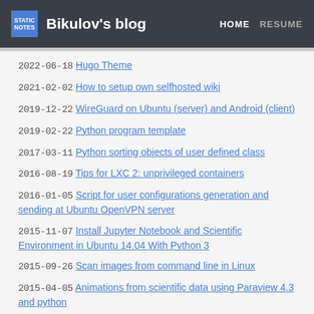STATIC NOTES | Bikulov's blog | HOME | RESUME
2022-06-18 Hugo Theme
2021-02-02 How to setup own selfhosted wiki
2019-12-22 WireGuard on Ubuntu (server) and Android (client)
2019-02-22 Python program template
2017-03-11 Python sorting objects of user defined class
2016-08-19 Tips for LXC 2: unprivileged containers
2016-01-05 Script for user configurations generation and sending at Ubuntu OpenVPN server
2015-11-07 Install Jupyter Notebook and Scientific Environment in Ubuntu 14.04 With Python 3
2015-09-26 Scan images from command line in Linux
2015-04-05 Animations from scientific data using Paraview 4.3 and python
2015-02-28 Install CUDA 6.5 on clean Ubuntu 14.04